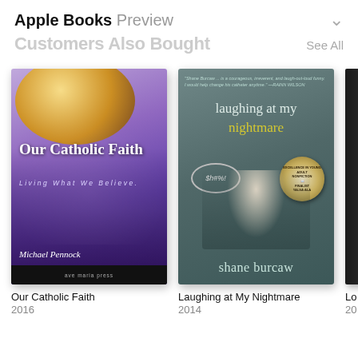Apple Books Preview
Customers Also Bought
[Figure (photo): Book cover: Our Catholic Faith - Living What We Believe, by Michael Pennock, ave maria press, 2016]
[Figure (photo): Book cover: Laughing at My Nightmare by Shane Burcaw, 2014, with award medallion]
[Figure (photo): Partial book cover of a third book (cropped)]
Our Catholic Faith
2016
Laughing at My Nightmare
2014
Lo
20